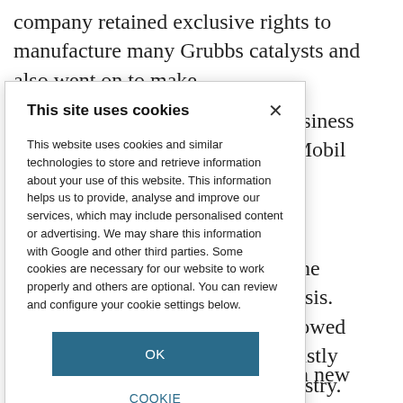company retained exclusive rights to manufacture many Grubbs catalysts and also went on to make
catalyst business by ExxonMobil
in shared the on metathesis. ed, had allowed utes and vastly reen chemistry.
of Grubbs' working on new
This site uses cookies

This website uses cookies and similar technologies to store and retrieve information about your use of this website. This information helps us to provide, analyse and improve our services, which may include personalised content or advertising. We may share this information with Google and other third parties. Some cookies are necessary for our website to work properly and others are optional. You can review and configure your cookie settings below.

OK

COOKIE SETTINGS